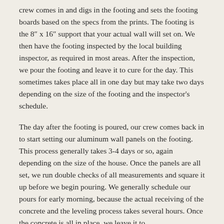crew comes in and digs in the footing and sets the footing boards based on the specs from the prints. The footing is the 8″ x 16″ support that your actual wall will set on. We then have the footing inspected by the local building inspector, as required in most areas. After the inspection, we pour the footing and leave it to cure for the day. This sometimes takes place all in one day but may take two days depending on the size of the footing and the inspector's schedule.
The day after the footing is poured, our crew comes back in to start setting our aluminum wall panels on the footing. This process generally takes 3-4 days or so, again depending on the size of the house. Once the panels are all set, we run double checks of all measurements and square it up before we begin pouring. We generally schedule our pours for early morning, because the actual receiving of the concrete and the leveling process takes several hours. Once the concrete is all in place, we leave it to